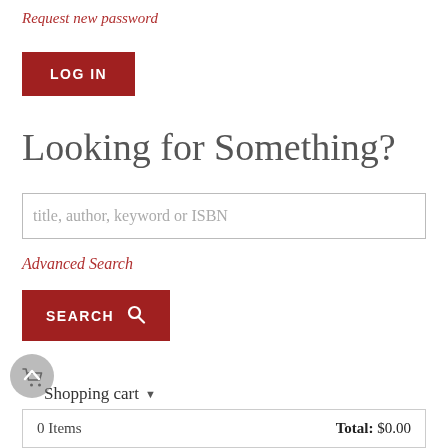Request new password
LOG IN
Looking for Something?
title, author, keyword or ISBN
Advanced Search
SEARCH
Shopping cart
|  | Total: |
| --- | --- |
| 0 Items | $0.00 |